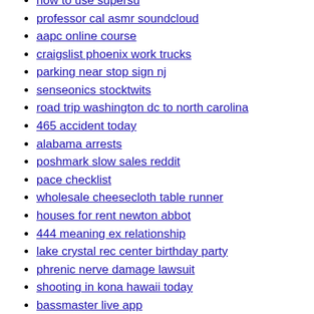how to use supersu
professor cal asmr soundcloud
aapc online course
craigslist phoenix work trucks
parking near stop sign nj
senseonics stocktwits
road trip washington dc to north carolina
465 accident today
alabama arrests
poshmark slow sales reddit
pace checklist
wholesale cheesecloth table runner
houses for rent newton abbot
444 meaning ex relationship
lake crystal rec center birthday party
phrenic nerve damage lawsuit
shooting in kona hawaii today
bassmaster live app
ifbb pro card natural
second degree felony florida
los angeles airport marriott shuttle
renegade dance jalaiah
six forks road accident today
des moines drug bust 2022
tori kelly instagram
1966 in a holiday travel